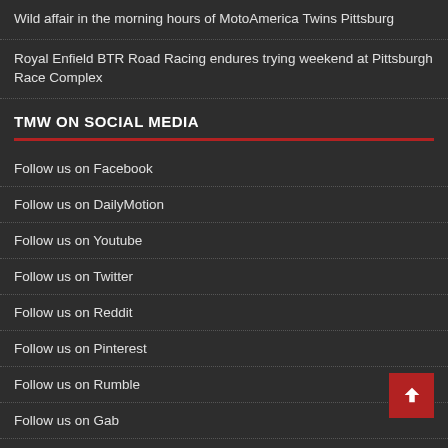Wild affair in the morning hours of MotoAmerica Twins Pittsburg
Royal Enfield BTR Road Racing endures trying weekend at Pittsburgh Race Complex
TMW ON SOCIAL MEDIA
Follow us on Facebook
Follow us on DailyMotion
Follow us on Youtube
Follow us on Twitter
Follow us on Reddit
Follow us on Pinterest
Follow us on Rumble
Follow us on Gab
Follow us on Gettr
Follow us on Parler